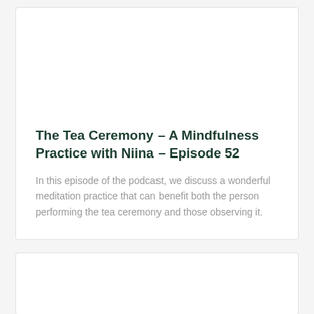The Tea Ceremony – A Mindfulness Practice with Niina – Episode 52
In this episode of the podcast, we discuss a wonderful meditation practice that can benefit both the person performing the tea ceremony and those observing it.